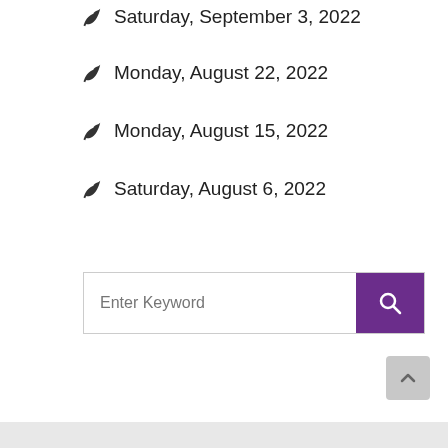Saturday, September 3, 2022
Monday, August 22, 2022
Monday, August 15, 2022
Saturday, August 6, 2022
[Figure (other): Search box with text input field labeled 'Enter Keyword' and a purple search button with magnifying glass icon]
[Figure (other): Scroll-to-top button (gray rounded square with upward chevron arrow)]